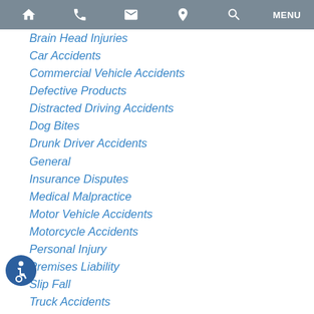Navigation menu bar with home, phone, email, location, search, and menu icons
Brain Head Injuries
Car Accidents
Commercial Vehicle Accidents
Defective Products
Distracted Driving Accidents
Dog Bites
Drunk Driver Accidents
General
Insurance Disputes
Medical Malpractice
Motor Vehicle Accidents
Motorcycle Accidents
Personal Injury
Premises Liability
Slip Fall
Truck Accidents
Workers' Compensation
Wrongful Death